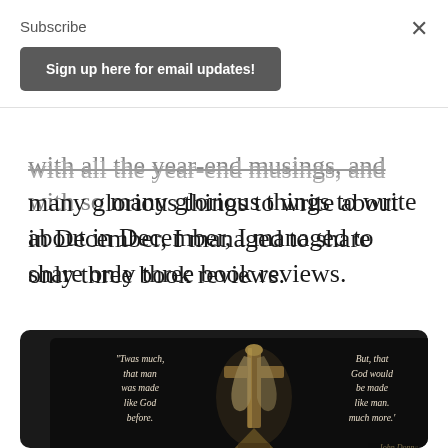Subscribe
Sign up here for email updates!
with all the year-end musings, and with so many glorious things to write about in December, I managed to share only three book reviews.
[Figure (photo): Dark background image showing a cross or artistic religious artifact in the center, flanked by italic script text on both sides. Left text reads: 'Twas much, that man was made like God before.' Right text reads: 'But, that God would be made like man. much more.' - John Donne]